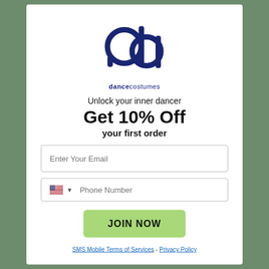[Figure (logo): Dance Costumes logo — stylized 'da' monogram in dark navy blue with 'dancecostumes' text below]
Unlock your inner dancer
Get 10% Off
your first order
Enter Your Email
Phone Number
JOIN NOW
SMS Mobile Terms of Services - Privacy Policy